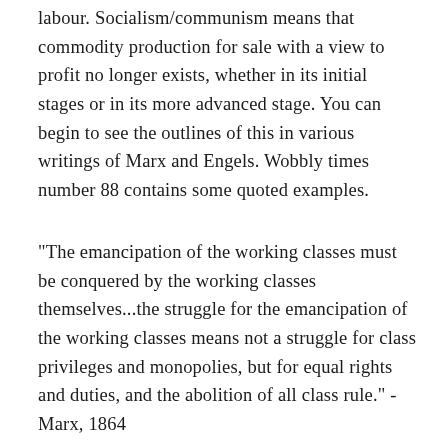labour. Socialism/communism means that commodity production for sale with a view to profit no longer exists, whether in its initial stages or in its more advanced stage. You can begin to see the outlines of this in various writings of Marx and Engels. Wobbly times number 88 contains some quoted examples.
"The emancipation of the working classes must be conquered by the working classes themselves...the struggle for the emancipation of the working classes means not a struggle for class privileges and monopolies, but for equal rights and duties, and the abolition of all class rule." - Marx, 1864